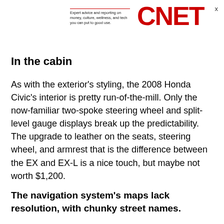Expert advice and reporting on money, culture, wellness, and tech you can put to good use. CNET
In the cabin
As with the exterior's styling, the 2008 Honda Civic's interior is pretty run-of-the-mill. Only the now-familiar two-spoke steering wheel and split-level gauge displays break up the predictability. The upgrade to leather on the seats, steering wheel, and armrest that is the difference between the EX and EX-L is a nice touch, but maybe not worth $1,200.
The navigation system's maps lack resolution, with chunky street names.